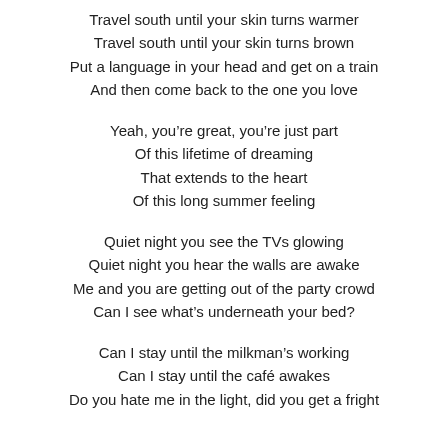Travel south until your skin turns warmer
Travel south until your skin turns brown
Put a language in your head and get on a train
And then come back to the one you love

Yeah, you’re great, you’re just part
Of this lifetime of dreaming
That extends to the heart
Of this long summer feeling

Quiet night you see the TVs glowing
Quiet night you hear the walls are awake
Me and you are getting out of the party crowd
Can I see what’s underneath your bed?

Can I stay until the milkman’s working
Can I stay until the café awakes
Do you hate me in the light, did you get a fright